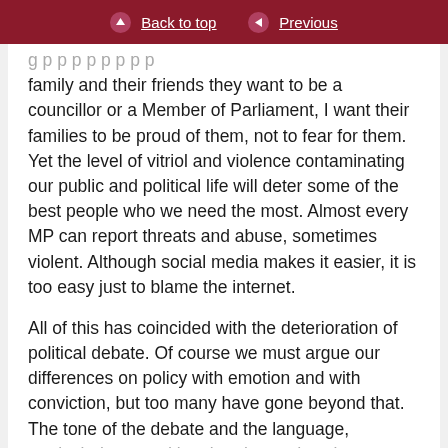Back to top | Previous
g p p p p family and their friends they want to be a councillor or a Member of Parliament, I want their families to be proud of them, not to fear for them. Yet the level of vitriol and violence contaminating our public and political life will deter some of the best people who we need the most. Almost every MP can report threats and abuse, sometimes violent. Although social media makes it easier, it is too easy just to blame the internet.
All of this has coincided with the deterioration of political debate. Of course we must argue our differences on policy with emotion and with conviction, but too many have gone beyond that. The tone of the debate and the language, particularly around immigration and asylum...